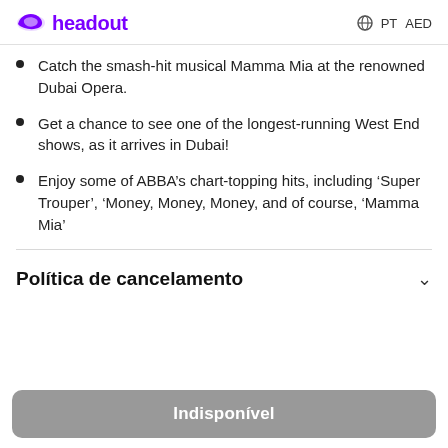headout  PT  AED
Catch the smash-hit musical Mamma Mia at the renowned Dubai Opera.
Get a chance to see one of the longest-running West End shows, as it arrives in Dubai!
Enjoy some of ABBA’s chart-topping hits, including ‘Super Trouper’, ‘Money, Money, Money, and of course, ‘Mamma Mia’
Política de cancelamento
Indisponível